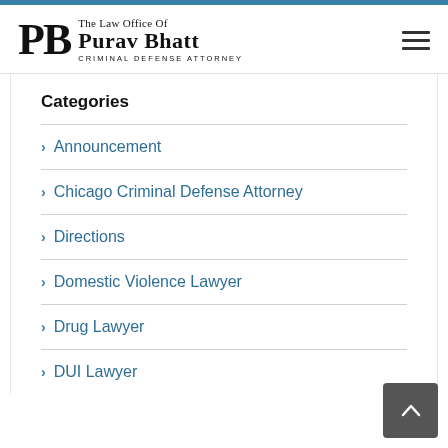[Figure (logo): The Law Office of Purav Bhatt - Criminal Defense Attorney logo with PB monogram]
Categories
Announcement
Chicago Criminal Defense Attorney
Directions
Domestic Violence Lawyer
Drug Lawyer
DUI Lawyer